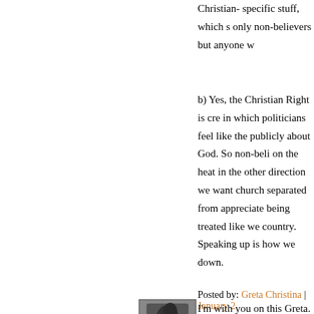Christian- specific stuff, which should affect not only non-believers but anyone w
b) Yes, the Christian Right is cre in which politicians feel like the publicly about God. So non-beli on the heat in the other direction we want church separated from appreciate being treated like we country. Speaking up is how we down.
Posted by: Greta Christina | January 2
[Figure (photo): Black and white portrait photo of a person with dark hair]
I'm with you on this Greta. I live from Michael Newdow. Hence, every time another story pops u around me. Frankly, I'm surprise atheists, even, who think he sho